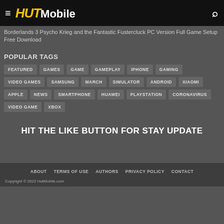HUTMobile
Borderlands 3 Psycho Krieg and the Fantastic Fustercluck PC Version Full Game Setup Free Download
POPULAR TAGS
FEATURED
GAMES
GAME
GAMEPLAY
IPHONE
GAMING
VIDEO GAMES
SAMSUNG
MARCH
SIMULATOR
ANDROID
XIAOMI
APPLE
NEWS
SMARTPHONE
HUAWEI
PLAYSTATION
CORONAVIRUS
VIDEO GAME
XBOX
HIT THE LIKE BUTTON FOR STAY UPDATE
ABOUT   TERMS OF USE   AUTHORS   PRIVACY POLICY   CONTACT
Copyright © 2022 HutMobile.com